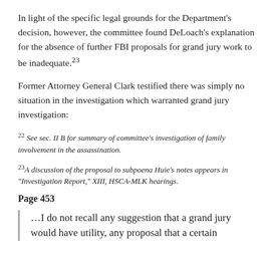In light of the specific legal grounds for the Department's decision, however, the committee found DeLoach's explanation for the absence of further FBI proposals for grand jury work to be inadequate.23
Former Attorney General Clark testified there was simply no situation in the investigation which warranted grand jury investigation:
22 See sec. II B for summary of committee's investigation of family involvement in the assassination.
23 A discussion of the proposal to subpoena Huie's notes appears in "Investigation Report," XIII, HSCA-MLK hearings.
Page 453
…I do not recall any suggestion that a grand jury would have utility, any proposal that a certain